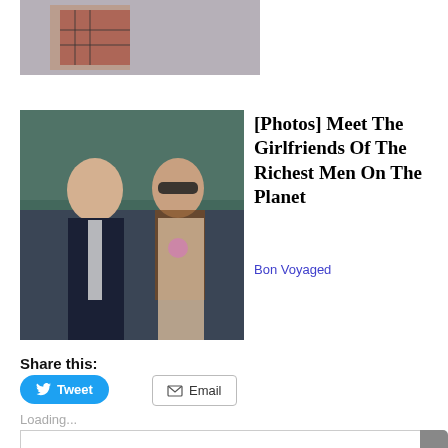[Figure (photo): Partial top image, cropped photo of a person in a red plaid shirt against a light interior background]
[Figure (photo): Thumbnail image of an older man in a dark suit and a young woman with long brown hair wearing sunglasses, seated at what appears to be an outdoor event]
[Photos] Meet The Girlfriends Of The Richest Men On The Planet
Bon Voyaged
Share this:
Tweet
Email
Loading...
Privacy & Cookies: This site uses cookies. By continuing to use this website, you agree to their use.
To find out more, including how to control cookies, see here: Cookie Policy
Close and accept